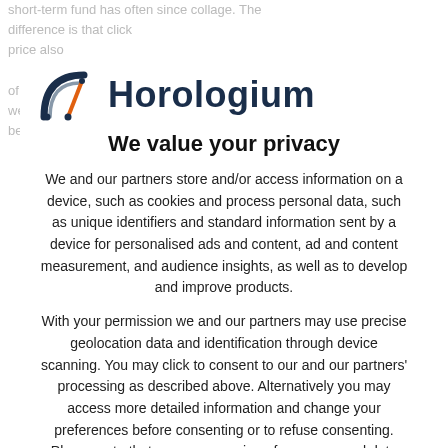[Figure (logo): Horologium logo with clock/compass graphic in navy blue and orange, and the text 'Horologium' in dark navy]
We value your privacy
We and our partners store and/or access information on a device, such as cookies and process personal data, such as unique identifiers and standard information sent by a device for personalised ads and content, ad and content measurement, and audience insights, as well as to develop and improve products.
With your permission we and our partners may use precise geolocation data and identification through device scanning. You may click to consent to our and our partners' processing as described above. Alternatively you may access more detailed information and change your preferences before consenting or to refuse consenting. Please note that some processing of your personal data may not require your consent, but you have a right to object to such processing.